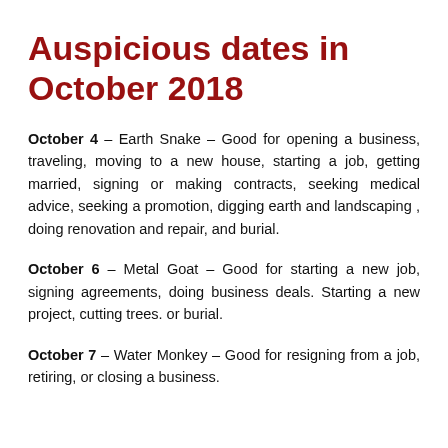Auspicious dates in October 2018
October 4 – Earth Snake – Good for opening a business, traveling, moving to a new house, starting a job, getting married, signing or making contracts, seeking medical advice, seeking a promotion, digging earth and landscaping , doing renovation and repair, and burial.
October 6 – Metal Goat – Good for starting a new job, signing agreements, doing business deals. Starting a new project, cutting trees. or burial.
October 7 – Water Monkey – Good for resigning from a job, retiring, or closing a business.